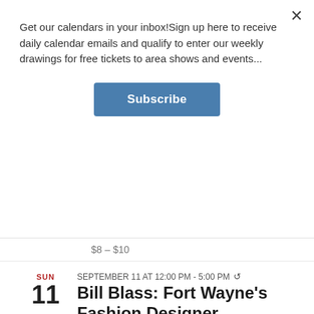Get our calendars in your inbox!Sign up here to receive daily calendar emails and qualify to enter our weekly drawings for free tickets to area shows and events...
Subscribe
$8 – $10
SUN
11
SEPTEMBER 11 AT 12:00 PM - 5:00 PM
Bill Blass: Fort Wayne's Fashion Designer
ART & EXHIBITS
Fort Wayne Museum of Art 311 E. Main St., Fort Wayne
Organizer: Fort Wayne Museum of Art (260) 422-6467
$8 – $10
TUE
SEPTEMBER 13 AT 10:00 AM - 6:00 PM